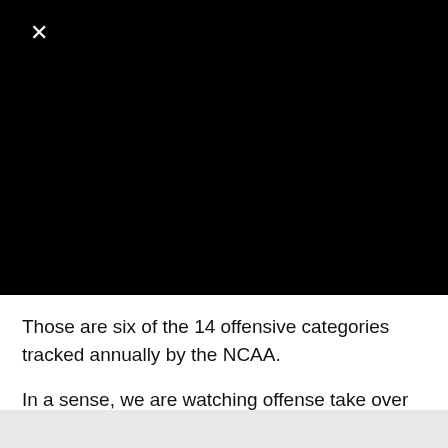[Figure (other): Black video/image area with a white X close button in the top-left corner]
Those are six of the 14 offensive categories tracked annually by the NCAA.
In a sense, we are watching offense take over the game in real time.